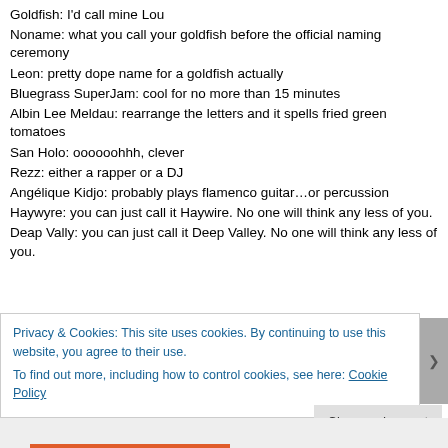Goldfish: I'd call mine Lou
Noname: what you call your goldfish before the official naming ceremony
Leon: pretty dope name for a goldfish actually
Bluegrass SuperJam: cool for no more than 15 minutes
Albin Lee Meldau: rearrange the letters and it spells fried green tomatoes
San Holo: oooooohhh, clever
Rezz: either a rapper or a DJ
Angélique Kidjo: probably plays flamenco guitar…or percussion
Haywyre: you can just call it Haywire. No one will think any less of you.
Deap Vally: you can just call it Deep Valley. No one will think any less of you.
Privacy & Cookies: This site uses cookies. By continuing to use this website, you agree to their use. To find out more, including how to control cookies, see here: Cookie Policy